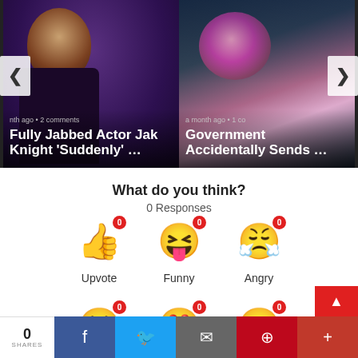[Figure (screenshot): Carousel card: photo of a Black man performing on stage, overlaid with title 'Fully Jabbed Actor Jak Knight 'Suddenly' ...' and meta 'nth ago • 2 comments']
[Figure (screenshot): Carousel card: stylized image of a brain with American flag, overlaid with title 'Government Accidentally Sends ...' and meta 'a month ago • 1 co']
What do you think?
0 Responses
[Figure (infographic): Three emoji reaction buttons: thumbs up (Upvote, 0), laughing face (Funny, 0), angry/crying face (Angry, 0) — each with red badge showing 0]
[Figure (infographic): Three more emoji reaction buttons (partially visible): crying face (0), heart-eyes face (0), surprised face (0)]
0 SHARES | Facebook share | Twitter share | Email share | Pinterest share | More